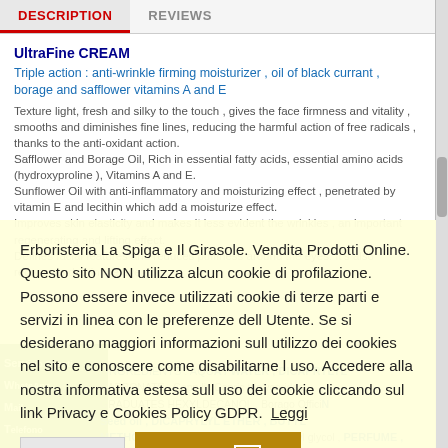DESCRIPTION | REVIEWS
UltraFine CREAM
Triple action : anti-wrinkle firming moisturizer , oil of black currant , borage and safflower vitamins A and E
Texture light, fresh and silky to the touch , gives the face firmness and vitality ...
Erboristeria La Spiga e Il Girasole. Vendita Prodotti Online. Questo sito NON utilizza alcun cookie di profilazione. Possono essere invece utilizzati cookie di terze parti e servizi in linea con le preferenze dell Utente. Se si desiderano maggiori informazioni sull utilizzo dei cookies nel sito e conoscere come disabilitarne l uso. Accedere alla nostra informativa estesa sull uso dei cookie cliccando sul link Privacy e Cookies Policy GDPR.  Leggi
Rifiuta
Chiudi
Servizio Clienti
WhatsApp
Mail
Telefono
INGREDIENTS : AQUA / WATER , DICAPRYLYL CARBONATE , Caprylic/Capric triglycerides , GRADUATES HEXYLDE CANOL , Borago Officin Seed oil , DICAPRYLYL ETHER , BUTYL METHOXYDIBENZOYLMETHANE , Butyl glycol , PERFUME ,